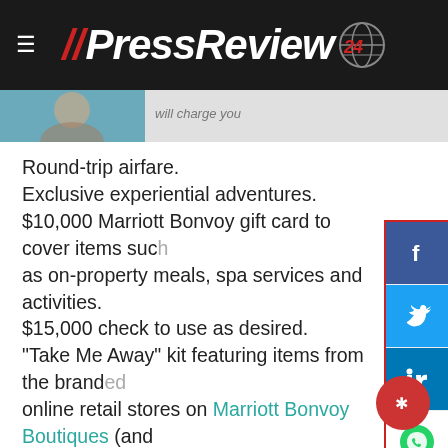//PressReview24
[Figure (photo): Partial image of a person at the top, with italic strikethrough text beside it]
Round-trip airfare.
Exclusive experiential adventures.
$10,000 Marriott Bonvoy gift card to cover items such as on-property meals, spa services and activities.
$15,000 check to use as desired.
"Take Me Away" kit featuring items from the branded online retail stores on Marriott Bonvoy Boutiques (and you know we have plenty of thoughts on what they should buy there, too).
Vouchers for transportation from Uber, where Marriott Bonvoy members can link their accounts to earn Marriott Bonvoy points on select rides and Uber Eats food delivery.
Progress toward elite status so they can enjoy benefits such as late checkout, room upgrades and more once